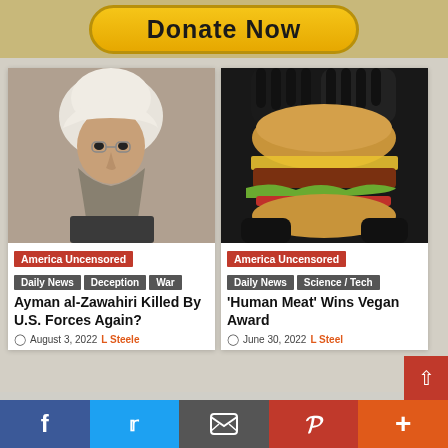Donate Now
[Figure (photo): Elderly bearded man in white turban]
[Figure (photo): Black gloved hands holding a burger]
America Uncensored
Daily News  Deception  War
Ayman al-Zawahiri Killed By U.S. Forces Again?
August 3, 2022  L Steele
America Uncensored
Daily News  Science / Tech
'Human Meat' Wins Vegan Award
June 30, 2022  L Steele